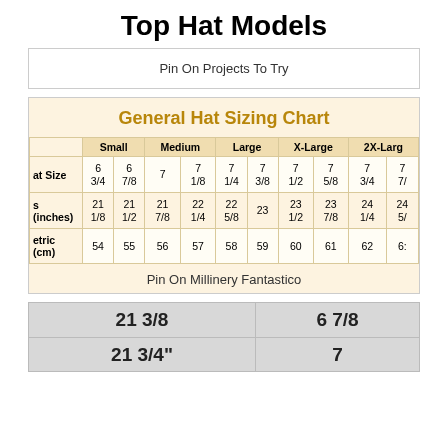Top Hat Models
Pin On Projects To Try
General Hat Sizing Chart
|  | Small |  | Medium |  | Large |  | X-Large |  | 2X-Large |  |
| --- | --- | --- | --- | --- | --- | --- | --- | --- | --- | --- |
| Hat Size | 6 3/4 | 6 7/8 | 7 | 7 1/8 | 7 1/4 | 7 3/8 | 7 1/2 | 7 5/8 | 7 3/4 | 7 7/... |
| S (inches) | 21 1/8 | 21 1/2 | 21 7/8 | 22 1/4 | 22 5/8 | 23 | 23 1/2 | 23 7/8 | 24 1/4 | 24 5/... |
| Metric (cm) | 54 | 55 | 56 | 57 | 58 | 59 | 60 | 61 | 62 | 6... |
Pin On Millinery Fantastico
| 21 3/8 | 6 7/8 |
| --- | --- |
| 21 3/4" | 7 |